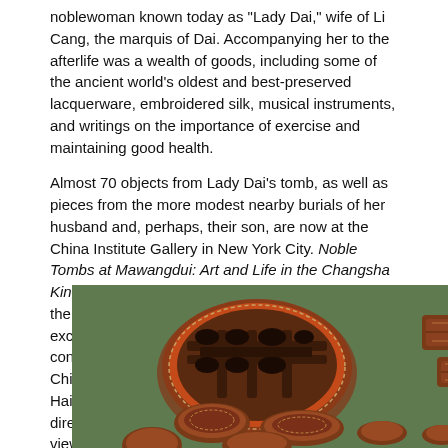noblewoman known today as "Lady Dai," wife of Li Cang, the marquis of Dai. Accompanying her to the afterlife was a wealth of goods, including some of the ancient world's oldest and best-preserved lacquerware, embroidered silk, musical instruments, and writings on the importance of exercise and maintaining good health.
Almost 70 objects from Lady Dai's tomb, as well as pieces from the more modest nearby burials of her husband and, perhaps, their son, are now at the China Institute Gallery in New York City. Noble Tombs at Mawangdui: Art and Life in the Changsha Kingdom, Third Century BCE to First Century CE is the first exhibition in the United States ever to focus exclusively on finds from the site. "Mawangdui is considered one of the most important findings in Chinese archaeological history," says Willow Weilan Hai Chang, director of the gallery and the project director who organized the exhibition. The works on view do not disappoint.
[Figure (photo): Photograph of ancient Chinese lacquerware objects from Mawangdui on a green background, including a round divided container with compartments and several smaller rectangular and oval lacquered boxes with decorative patterns.]